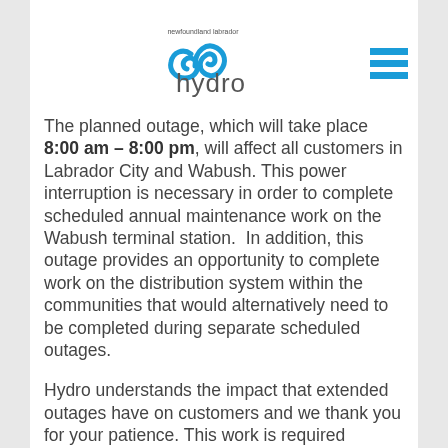[Figure (logo): Newfoundland Labrador Hydro logo with blue swirl and 'hydro' text]
The planned outage, which will take place 8:00 am – 8:00 pm, will affect all customers in Labrador City and Wabush. This power interruption is necessary in order to complete scheduled annual maintenance work on the Wabush terminal station.  In addition, this outage provides an opportunity to complete work on the distribution system within the communities that would alternatively need to be completed during separate scheduled outages.
Hydro understands the impact that extended outages have on customers and we thank you for your patience. This work is required